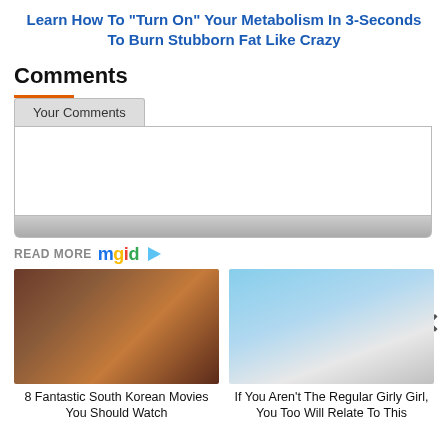Learn How To "Turn On" Your Metabolism In 3-Seconds To Burn Stubborn Fat Like Crazy
Comments
Your Comments
READ MORE mgid
[Figure (photo): Movie scene with people running, appears to be a South Korean film]
8 Fantastic South Korean Movies You Should Watch
[Figure (photo): Woman wearing sunglasses standing in front of snowy mountains]
If You Aren't The Regular Girly Girl, You Too Will Relate To This